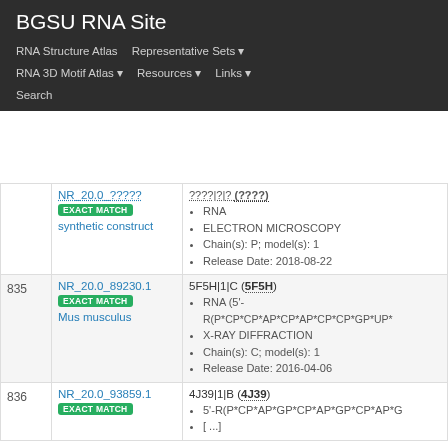BGSU RNA Site
RNA Structure Atlas | Representative Sets ▾ | RNA 3D Motif Atlas ▾ | Resources ▾ | Links ▾ | Search
| # | ID / Match / Organism | PDB Entry / Details |
| --- | --- | --- |
|  | NR_20.0_????? EXACT MATCH synthetic construct | ????|?|? (????)
• RNA
• ELECTRON MICROSCOPY
• Chain(s): P; model(s): 1
• Release Date: 2018-08-22 |
| 835 | NR_20.0_89230.1 EXACT MATCH Mus musculus | 5F5H|1|C (5F5H)
• RNA (5'-R(P*CP*CP*AP*CP*AP*CP*CP*GP*UP*...
• X-RAY DIFFRACTION
• Chain(s): C; model(s): 1
• Release Date: 2016-04-06 |
| 836 | NR_20.0_93859.1 EXACT MATCH | 4J39|1|B (4J39)
• 5'-R(P*CP*AP*GP*CP*AP*GP*CP*AP*G...
• [...] |